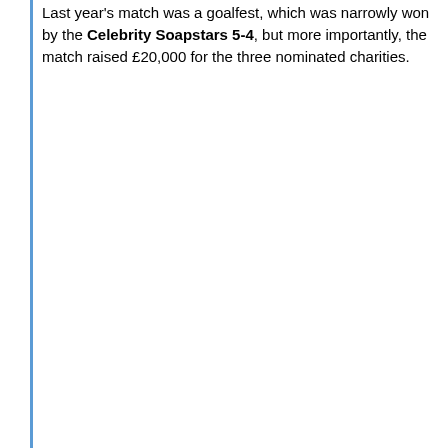Last year's match was a goalfest, which was narrowly won by the Celebrity Soapstars 5-4, but more importantly, the match raised £20,000 for the three nominated charities.